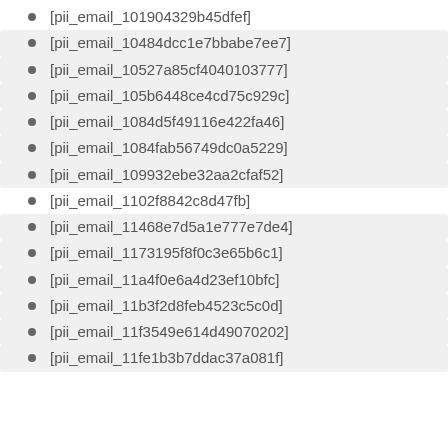[pii_email_101904329b45dfef]
[pii_email_10484dcc1e7bbabe7ee7]
[pii_email_10527a85cf4040103777]
[pii_email_105b6448ce4cd75c929c]
[pii_email_1084d5f49116e422fa46]
[pii_email_1084fab56749dc0a5229]
[pii_email_109932ebe32aa2cfaf52]
[pii_email_1102f8842c8d47fb]
[pii_email_11468e7d5a1e777e7de4]
[pii_email_1173195f8f0c3e65b6c1]
[pii_email_11a4f0e6a4d23ef10bfc]
[pii_email_11b3f2d8feb4523c5c0d]
[pii_email_11f3549e614d49070202]
[pii_email_11fe1b3b7ddac37a081f]